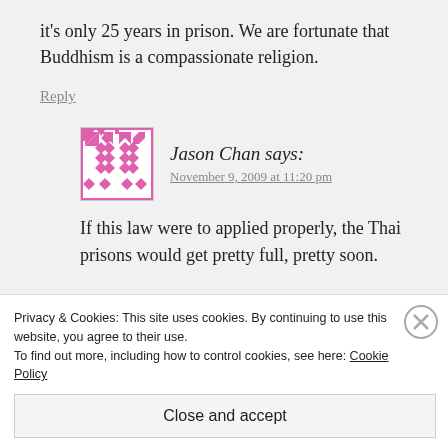it's only 25 years in prison. We are fortunate that Buddhism is a compassionate religion.
Reply
Jason Chan says:
November 9, 2009 at 11:20 pm
If this law were to applied properly, the Thai prisons would get pretty full, pretty soon.
Privacy & Cookies: This site uses cookies. By continuing to use this website, you agree to their use.
To find out more, including how to control cookies, see here: Cookie Policy
Close and accept